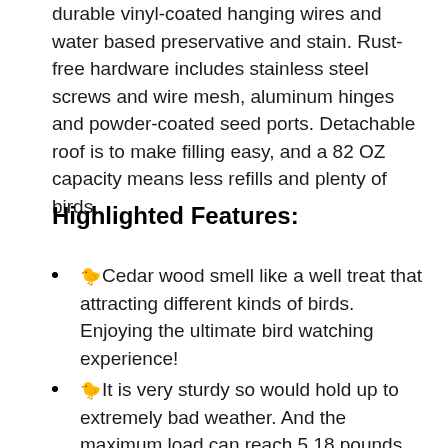durable vinyl-coated hanging wires and water based preservative and stain. Rust-free hardware includes stainless steel screws and wire mesh, aluminum hinges and powder-coated seed ports. Detachable roof is to make filling easy, and a 82 OZ capacity means less refills and plenty of birds.
Highlighted Features:
🐤Cedar wood smell like a well treat that attracting different kinds of birds. Enjoying the ultimate bird watching experience!
🐤It is very sturdy so would hold up to extremely bad weather. And the maximum load can reach 5.18 pounds.
🐤EASY TO USE: Removable roof...